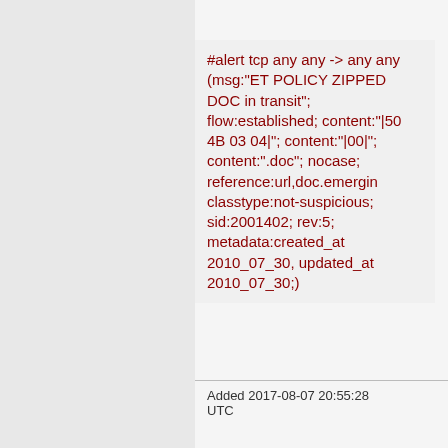#alert tcp any any -> any any (msg:"ET POLICY ZIPPED DOC in transit"; flow:established; content:"|50 4B 03 04|"; content:"|00|"; content:".doc"; nocase; reference:url,doc.emergin classtype:not-suspicious; sid:2001402; rev:5; metadata:created_at 2010_07_30, updated_at 2010_07_30;)
Added 2017-08-07 20:55:28 UTC